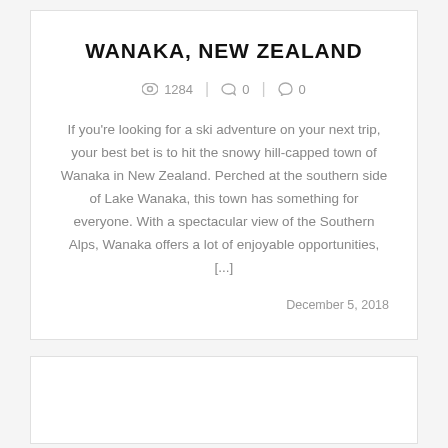WANAKA, NEW ZEALAND
1284   0   0
If you’re looking for a ski adventure on your next trip, your best bet is to hit the snowy hill-capped town of Wanaka in New Zealand. Perched at the southern side of Lake Wanaka, this town has something for everyone. With a spectacular view of the Southern Alps, Wanaka offers a lot of enjoyable opportunities, [...]
December 5, 2018